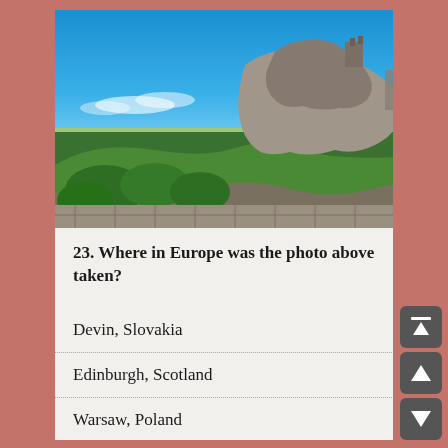[Figure (photo): Outdoor photo of a rocky hilltop castle/ruins overlooking green forest and a river, under a bright blue sky. Likely Devin Castle in Slovakia.]
23. Where in Europe was the photo above taken?
Devin, Slovakia
Edinburgh, Scotland
Warsaw, Poland